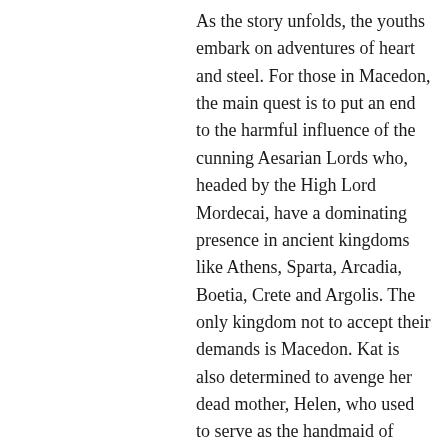As the story unfolds, the youths embark on adventures of heart and steel. For those in Macedon, the main quest is to put an end to the harmful influence of the cunning Aesarian Lords who, headed by the High Lord Mordecai, have a dominating presence in ancient kingdoms like Athens, Sparta, Arcadia, Boetia, Crete and Argolis. The only kingdom not to accept their demands is Macedon. Kat is also determined to avenge her dead mother, Helen, who used to serve as the handmaid of Alexander’s mother, Olympias.
Herman’s novel flourishes with references to classical culture and